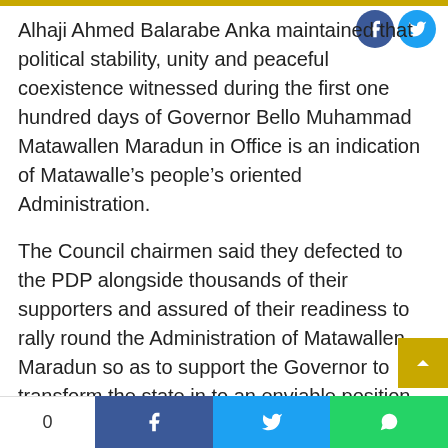Alhaji Ahmed Balarabe Anka maintained that political stability, unity and peaceful coexistence witnessed during the first one hundred days of Governor Bello Muhammad Matawallen Maradun in Office is an indication of Matawalle’s people’s oriented Administration.
The Council chairmen said they defected to the PDP alongside thousands of their supporters and assured of their readiness to rally round the Administration of Matawallen Maradun so as to support the Governor to transform the state in to an enviable position.
The council Chairmen noted that God Almight his infinate mercy gave Governor Bello Mataw
0